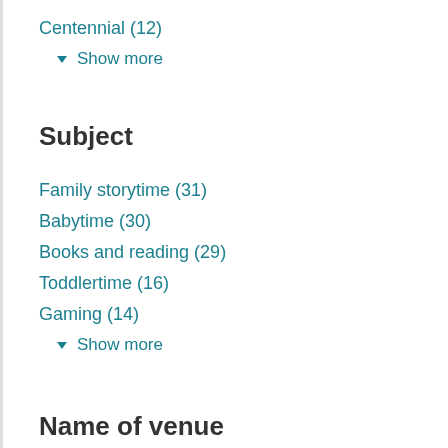Centennial (12)
▾ Show more
Subject
Family storytime (31)
Babytime (30)
Books and reading (29)
Toddlertime (16)
Gaming (14)
▾ Show more
Name of venue